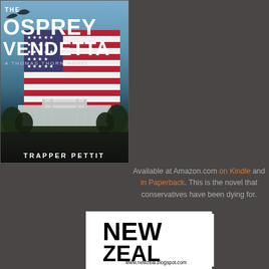[Figure (illustration): Book cover for 'The Osprey Vendetta - A Thomas Thorn Novel' by Trapper Pettit, showing an American flag waving in front of the White House, with a bird silhouette in the upper left. Title text in bold white at top, author name at bottom.]
Available at Amazon.com on Kindle and in Paperback. This is the novel that conservatives have been dying for.
[Figure (logo): New Zeal blog logo - white rectangle with bold black text reading 'NEW ZEAL' and URL www.newzeal.blogspot.com at bottom]